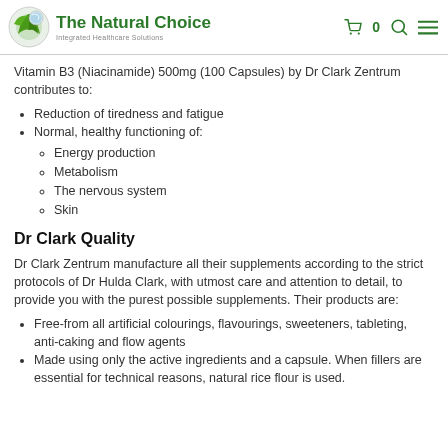The Natural Choice — Integrated Healthcare Solutions
Vitamin B3 (Niacinamide) 500mg (100 Capsules) by Dr Clark Zentrum contributes to:
Reduction of tiredness and fatigue
Normal, healthy functioning of: Energy production, Metabolism, The nervous system, Skin
Dr Clark Quality
Dr Clark Zentrum manufacture all their supplements according to the strict protocols of Dr Hulda Clark, with utmost care and attention to detail, to provide you with the purest possible supplements. Their products are:
Free-from all artificial colourings, flavourings, sweeteners, tableting, anti-caking and flow agents
Made using only the active ingredients and a capsule. When fillers are essential for technical reasons, natural rice flour is used.